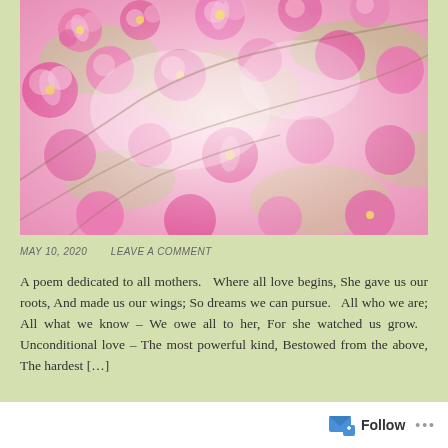[Figure (photo): Close-up photograph of pink cherry blossoms or crabapple flowers with green leaves, soft light and slightly overexposed, giving a dreamy pastel effect]
MAY 10, 2020   LEAVE A COMMENT
A poem dedicated to all mothers.   Where all love begins, She gave us our roots, And made us our wings; So dreams we can pursue.   All who we are; All what we know – We owe all to her, For she watched us grow.   Unconditional love – The most powerful kind, Bestowed from the above, The hardest […]
Follow   •••